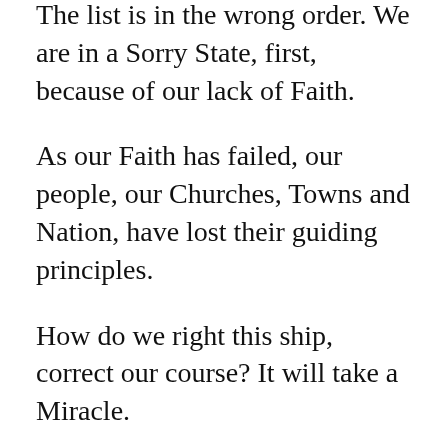The list is in the wrong order. We are in a Sorry State, first, because of our lack of Faith.
As our Faith has failed, our people, our Churches, Towns and Nation, have lost their guiding principles.
How do we right this ship, correct our course? It will take a Miracle.
“This beginning of Miracles,” we read about in the book of John. Had absolutely nothing to do with the relationship of the petitioner, to Jesus.
Yes, I know it was His Mom. Some pray to her. Most of us just accept that Jesus